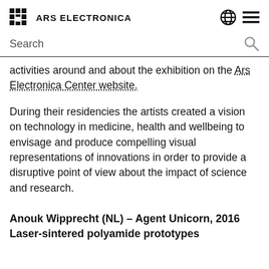ARS ELECTRONICA
Search
activities around and about the exhibition on the Ars Electronica Center website.
During their residencies the artists created a vision on technology in medicine, health and wellbeing to envisage and produce compelling visual representations of innovations in order to provide a disruptive point of view about the impact of science and research.
Anouk Wipprecht (NL) – Agent Unicorn, 2016
Laser-sintered polyamide prototypes